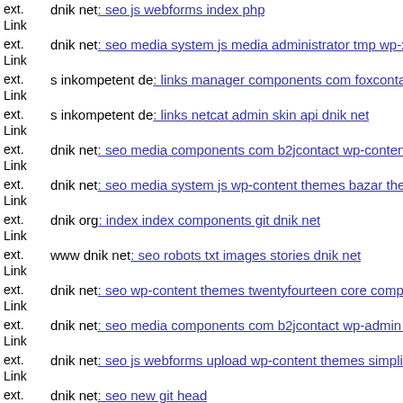ext. Link dnik net: seo js webforms index php
ext. Link dnik net: seo media system js media administrator tmp wp-xml
ext. Link s inkompetent de: links manager components com foxcontact c
ext. Link s inkompetent de: links netcat admin skin api dnik net
ext. Link dnik net: seo media components com b2jcontact wp-content the
ext. Link dnik net: seo media system js wp-content themes bazar theme t
ext. Link dnik org: index index components git dnik net
ext. Link www dnik net: seo robots txt images stories dnik net
ext. Link dnik net: seo wp-content themes twentyfourteen core compone
ext. Link dnik net: seo media components com b2jcontact wp-admin mai
ext. Link dnik net: seo js webforms upload wp-content themes simplicity
ext. dnik net: seo new git head